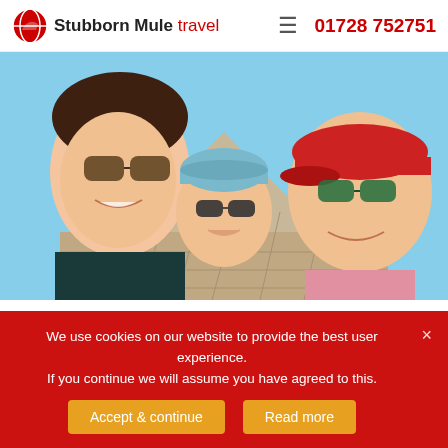Stubborn Mule travel  ☰  01728 752751
[Figure (photo): Selfie photo of a woman and two children (one in a blue hat, one in a red cap with sunglasses) in front of Mayan ruins on a sunny day]
Exploring Mayan ruins against the noisy backdrop of howler monkeys will fire the children's imagination
Why?
We use cookies on our website to provide the best user experience. If you continue we will assume you have agreed to this.
Accept & continue   Read more